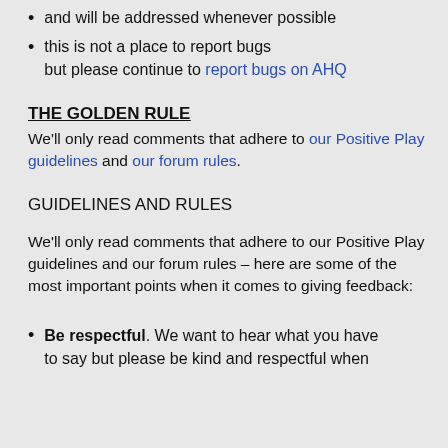and will be addressed whenever possible
this is not a place to report bugs but please continue to report bugs on AHQ
THE GOLDEN RULE
We'll only read comments that adhere to our Positive Play guidelines and our forum rules.
GUIDELINES AND RULES
We'll only read comments that adhere to our Positive Play guidelines and our forum rules – here are some of the most important points when it comes to giving feedback:
Be respectful. We want to hear what you have to say but please be kind and respectful when